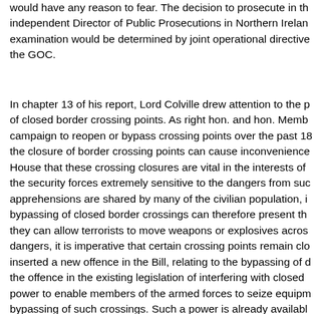would have any reason to fear. The decision to prosecute in th independent Director of Public Prosecutions in Northern Irelan examination would be determined by joint operational directive the GOC.
In chapter 13 of his report, Lord Colville drew attention to the p of closed border crossing points. As right hon. and hon. Memb campaign to reopen or bypass crossing points over the past 18 the closure of border crossing points can cause inconvenience House that these crossing closures are vital in the interests of the security forces extremely sensitive to the dangers from suc apprehensions are shared by many of the civilian population, i bypassing of closed border crossings can therefore present th they can allow terrorists to move weapons or explosives acros dangers, it is imperative that certain crossing points remain clo inserted a new offence in the Bill, relating to the bypassing of d the offence in the existing legislation of interfering with closed  power to enable members of the armed forces to seize equipm bypassing of such crossings. Such a power is already availabl patrolling in border areas, they are not always present. Hence terrorist and their followers to reap benefits.